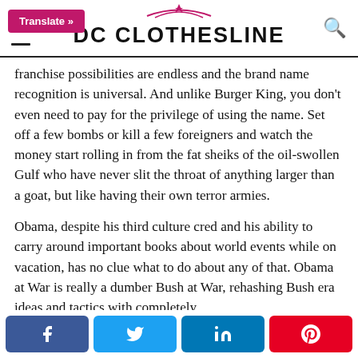DC CLOTHESLINE
franchise possibilities are endless and the brand name recognition is universal. And unlike Burger King, you don't even need to pay for the privilege of using the name. Set off a few bombs or kill a few foreigners and watch the money start rolling in from the fat sheiks of the oil-swollen Gulf who have never slit the throat of anything larger than a goat, but like having their own terror armies.
Obama, despite his third culture cred and his ability to carry around important books about world events while on vacation, has no clue what to do about any of that. Obama at War is really a dumber Bush at War, rehashing Bush era ideas and tactics with completely
Share buttons: Facebook, Twitter, LinkedIn, Pinterest